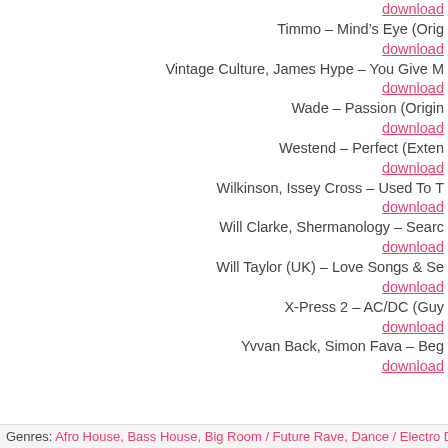Timmo – Mind's Eye (Orig…
download
Vintage Culture, James Hype – You Give M…
download
Wade – Passion (Origin…
download
Westend – Perfect (Exten…
download
Wilkinson, Issey Cross – Used To T…
download
Will Clarke, Shermanology – Searc…
download
Will Taylor (UK) – Love Songs & Se…
download
X-Press 2 – AC/DC (Guy …
download
Yvvan Back, Simon Fava – Beg…
download
Genres: Afro House, Bass House, Big Room / Future Rave, Dance / Electro D…